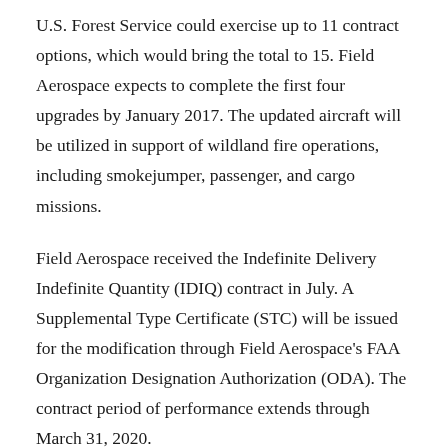U.S. Forest Service could exercise up to 11 contract options, which would bring the total to 15. Field Aerospace expects to complete the first four upgrades by January 2017. The updated aircraft will be utilized in support of wildland fire operations, including smokejumper, passenger, and cargo missions.
Field Aerospace received the Indefinite Delivery Indefinite Quantity (IDIQ) contract in July. A Supplemental Type Certificate (STC) will be issued for the modification through Field Aerospace's FAA Organization Designation Authorization (ODA). The contract period of performance extends through March 31, 2020.